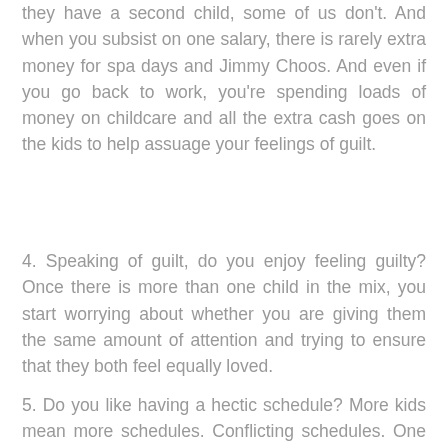they have a second child, some of us don't. And when you subsist on one salary, there is rarely extra money for spa days and Jimmy Choos. And even if you go back to work, you're spending loads of money on childcare and all the extra cash goes on the kids to help assuage your feelings of guilt.
4. Speaking of guilt, do you enjoy feeling guilty? Once there is more than one child in the mix, you start worrying about whether you are giving them the same amount of attention and trying to ensure that they both feel equally loved.
5. Do you like having a hectic schedule? More kids mean more schedules. Conflicting schedules. One wants to